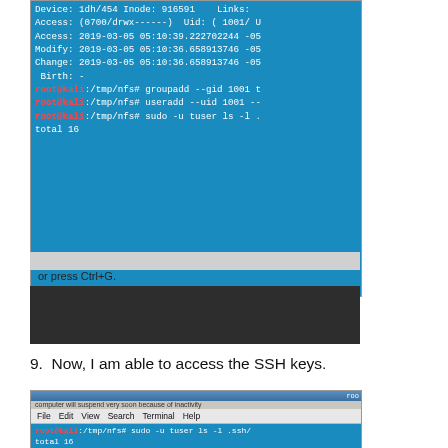[Figure (screenshot): Terminal screenshot showing stat output with access/modify/change timestamps, followed by groupadd, useradd, sudo commands. Shows 'total 16' output. Gray taskbar and dark area below.]
9.  Now, I am able to access the SSH keys.
[Figure (screenshot): Terminal screenshot showing root@kali:/tmp/nfs# sudo -u tuser ls -l .ssh/ with total 16 and file listings for authorized_keys, id_rsa, id_rsa.pub, user. files with tuser tgroup ownership.]